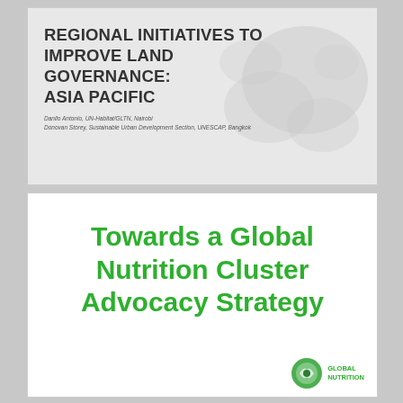[Figure (other): Slide thumbnail showing 'REGIONAL INITIATIVES TO IMPROVE LAND GOVERNANCE: ASIA PACIFIC' with a faint map silhouette background and author credits]
REGIONAL INITIATIVES TO IMPROVE LAND GOVERNANCE: ASIA PACIFIC
Danilo Antonio, UN-Habitat/GLTN, Nairobi
Donovan Storey, Sustainable Urban Development Section, UNESCAP, Bangkok
[Figure (illustration): White card with green bold text reading 'Towards a Global Nutrition Cluster Advocacy Strategy' with Global Nutrition logo in bottom right]
Towards a Global Nutrition Cluster Advocacy Strategy